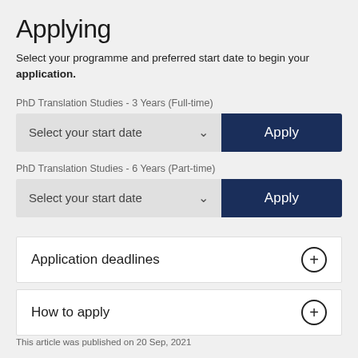Applying
Select your programme and preferred start date to begin your application.
PhD Translation Studies - 3 Years (Full-time)
Select your start date  Apply
PhD Translation Studies - 6 Years (Part-time)
Select your start date  Apply
Application deadlines
How to apply
This article was published on 20 Sep, 2021